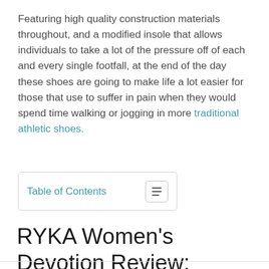Featuring high quality construction materials throughout, and a modified insole that allows individuals to take a lot of the pressure off of each and every single footfall, at the end of the day these shoes are going to make life a lot easier for those that use to suffer in pain when they would spend time walking or jogging in more traditional athletic shoes.
Table of Contents
RYKA Women's Devotion Review: Overall impressions